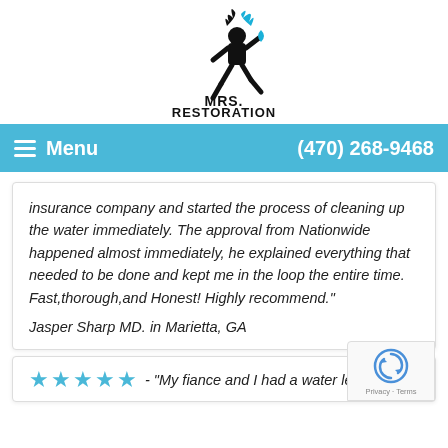[Figure (logo): Mrs. Restoration logo — stylized running figure with water/fire elements above text 'MRS. RESTORATION' in bold block letters]
≡ Menu    (470) 268-9468
insurance company and started the process of cleaning up the water immediately. The approval from Nationwide happened almost immediately, he explained everything that needed to be done and kept me in the loop the entire time. Fast,thorough,and Honest! Highly recommend."
Jasper Sharp MD. in Marietta, GA
★★★★★ - "My fiance and I had a water leak in our